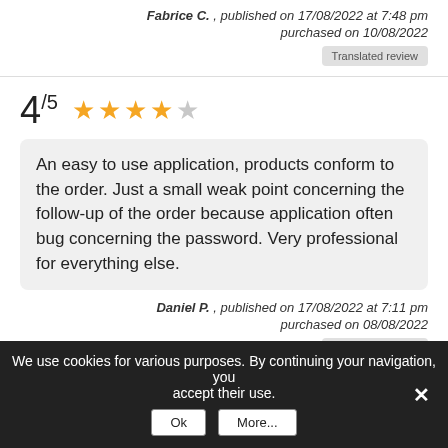Fabrice C. , published on 17/08/2022 at 7:48 pm
purchased on 10/08/2022
Translated review
4/5 ★★★★☆
An easy to use application, products conform to the order. Just a small weak point concerning the follow-up of the order because application often bug concerning the password. Very professional for everything else.
Daniel P. , published on 17/08/2022 at 7:11 pm
purchased on 08/08/2022
Translated review
We use cookies for various purposes. By continuing your navigation, you accept their use.